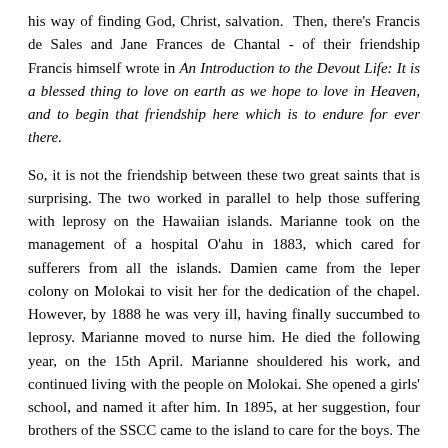his way of finding God, Christ, salvation. Then, there's Francis de Sales and Jane Frances de Chantal - of their friendship Francis himself wrote in An Introduction to the Devout Life: It is a blessed thing to love on earth as we hope to love in Heaven, and to begin that friendship here which is to endure for ever there.
So, it is not the friendship between these two great saints that is surprising. The two worked in parallel to help those suffering with leprosy on the Hawaiian islands. Marianne took on the management of a hospital O'ahu in 1883, which cared for sufferers from all the islands. Damien came from the leper colony on Molokai to visit her for the dedication of the chapel. However, by 1888 he was very ill, having finally succumbed to leprosy. Marianne moved to nurse him. He died the following year, on the 15th April. Marianne shouldered his work, and continued living with the people on Molokai. She opened a girls' school, and named it after him. In 1895, at her suggestion, four brothers of the SSCC came to the island to care for the boys. The friendship of Marianne and Damien began on earth and endures in heaven.